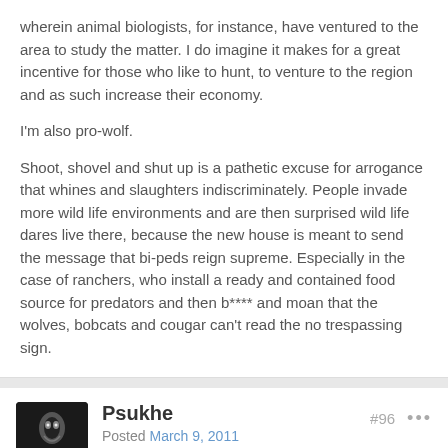wherein animal biologists, for instance, have ventured to the area to study the matter. I do imagine it makes for a great incentive for those who like to hunt, to venture to the region and as such increase their economy.
I'm also pro-wolf.
Shoot, shovel and shut up is a pathetic excuse for arrogance that whines and slaughters indiscriminately. People invade more wild life environments and are then surprised wild life dares live there, because the new house is meant to send the message that bi-peds reign supreme. Especially in the case of ranchers, who install a ready and contained food source for predators and then b**** and moan that the wolves, bobcats and cougar can't read the no trespassing sign.
Psukhe
Posted March 9, 2011
#96
On 3/7/2011 at 5:38 PM, theGhost_and_theDarkness said: